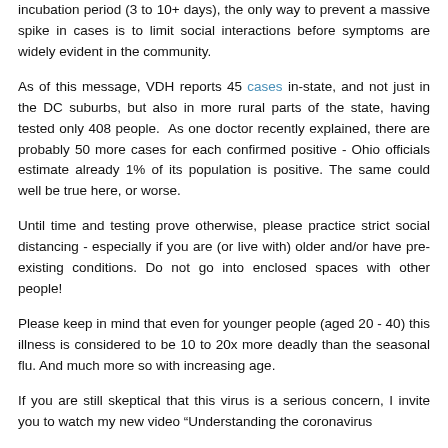incubation period (3 to 10+ days), the only way to prevent a massive spike in cases is to limit social interactions before symptoms are widely evident in the community.
As of this message, VDH reports 45 cases in-state, and not just in the DC suburbs, but also in more rural parts of the state, having tested only 408 people.  As one doctor recently explained, there are probably 50 more cases for each confirmed positive - Ohio officials estimate already 1% of its population is positive. The same could well be true here, or worse.
Until time and testing prove otherwise, please practice strict social distancing - especially if you are (or live with) older and/or have pre-existing conditions. Do not go into enclosed spaces with other people!
Please keep in mind that even for younger people (aged 20 - 40) this illness is considered to be 10 to 20x more deadly than the seasonal flu. And much more so with increasing age.
If you are still skeptical that this virus is a serious concern, I invite you to watch my new video "Understanding the coronavirus